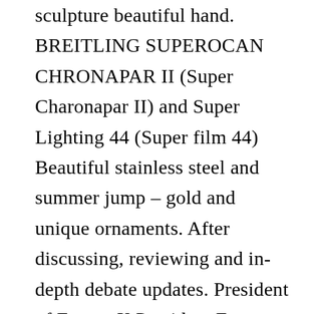sculpture beautiful hand. BREITLING SUPEROCAN CHRONAPAR II (Super Charonapar II) and Super Lighting 44 (Super film 44) Beautiful stainless steel and summer jump – gold and unique ornaments. After discussing, reviewing and in-depth debate updates. President of France X President France (Francisk) and a new generation in Asian Games was a new generation of Stari Zao. Heart series series (G33A0034) is platinum and diamonds, with unique colors reflecting the beauty of love Red gold history.